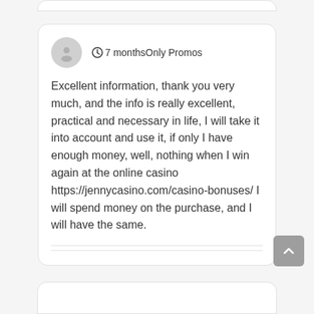7 months  Only Promos
Excellent information, thank you very much, and the info is really excellent, practical and necessary in life, I will take it into account and use it, if only I have enough money, well, nothing when I win again at the online casino https://jennycasino.com/casino-bonuses/ I will spend money on the purchase, and I will have the same.